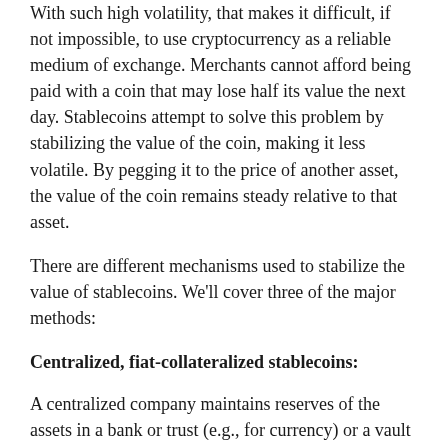With such high volatility, that makes it difficult, if not impossible, to use cryptocurrency as a reliable medium of exchange. Merchants cannot afford being paid with a coin that may lose half its value the next day. Stablecoins attempt to solve this problem by stabilizing the value of the coin, making it less volatile. By pegging it to the price of another asset, the value of the coin remains steady relative to that asset.
There are different mechanisms used to stabilize the value of stablecoins. We'll cover three of the major methods:
Centralized, fiat-collateralized stablecoins:
A centralized company maintains reserves of the assets in a bank or trust (e.g., for currency) or a vault (e.g., for gold) and issues tokens (i.e., stablecoins) that represent a claim on the underlying asset. They create stablecoins equivalent to the amount of the underlying asset that they have. The digital token has value because it represents a claim on another asset with a defined value. The reserves for those assets are regularly audited.